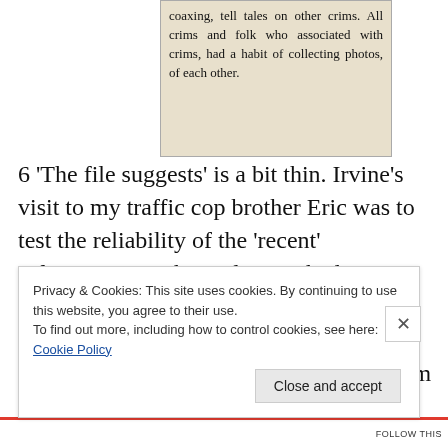[Figure (photo): Clipping of a newspaper article showing partial text: 'coaxing, tell tales on other crims. All crims and folk who associated with crims, had a habit of collecting photos, of each other.']
6 'The file suggests' is a bit thin. Irvine's visit to my traffic cop brother Eric was to test the reliability of the 'recent' information, nothing else. He hadn't received any other information ever. Eric told Irvine his information was bollocks but still he went ahead. 7 I was aware from the beginning of who the informant was. On the night of the home invasion I said to Irvine "I know who's done this, Jerry Cornelius." At that Irvine flinched and walked away
Privacy & Cookies: This site uses cookies. By continuing to use this website, you agree to their use.
To find out more, including how to control cookies, see here: Cookie Policy